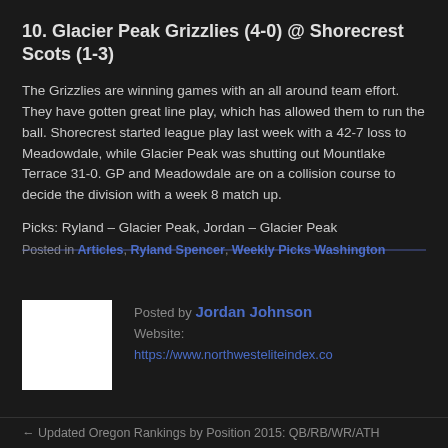10. Glacier Peak Grizzlies (4-0) @ Shorecrest Scots (1-3)
The Grizzlies are winning games with an all around team effort. They have gotten great line play, which has allowed them to run the ball. Shorecrest started league play last week with a 42-7 loss to Meadowdale, while Glacier Peak was shutting out Mountlake Terrace 31-0. GP and Meadowdale are on a collision course to decide the division with a week 8 match up.
Picks: Ryland – Glacier Peak, Jordan – Glacier Peak
Posted in Articles, Ryland Spencer, Weekly Picks Washington
[Figure (photo): White square avatar placeholder for author Jordan Johnson]
Posted by Jordan Johnson
Website: https://www.northwesteliteindex.co
← Updated Oregon Rankings by Position 2015: QB/RB/WR/ATH